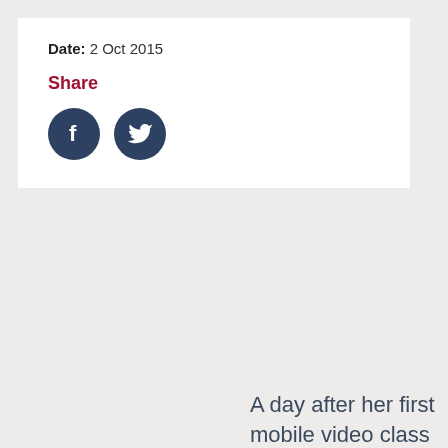Date: 2 Oct 2015
Share
[Figure (illustration): Facebook and Twitter social media icon circles in dark navy blue]
A day after her first mobile video class Brighton Journalist Works NCTJ student Jessica Wells